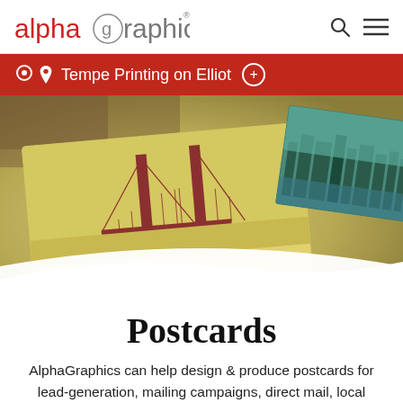alphagraphics
Tempe Printing on Elliot
[Figure (photo): Close-up photo of postcards showing the Golden Gate Bridge and a city skyline, with a warm golden-toned background]
Postcards
AlphaGraphics can help design & produce postcards for lead-generation, mailing campaigns, direct mail, local event etc. Chose the right finish and layout that